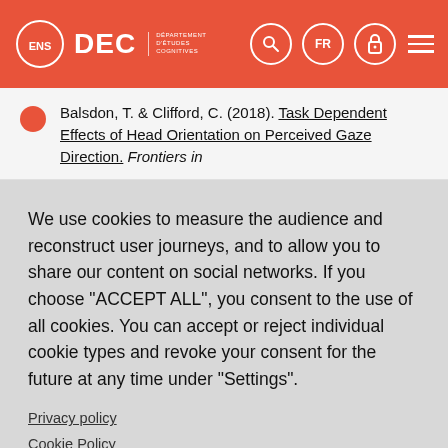[Figure (screenshot): ENS DEC website header with orange background, logo, search icon, FR language toggle, lock icon, and hamburger menu]
Balsdon, T. & Clifford, C. (2018). Task Dependent Effects of Head Orientation on Perceived Gaze Direction. Frontiers in
We use cookies to measure the audience and reconstruct user journeys, and to allow you to share our content on social networks. If you choose "ACCEPT ALL", you consent to the use of all cookies. You can accept or reject individual cookie types and revoke your consent for the future at any time under "Settings".
Privacy policy
Cookie Policy